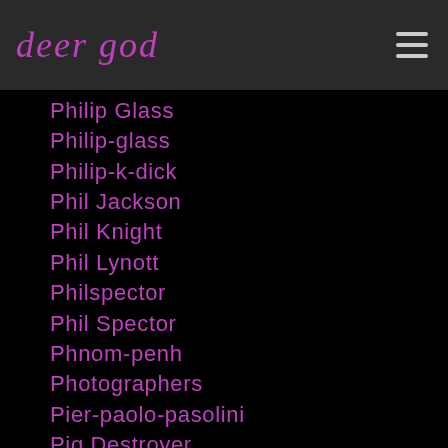deer god
Philip Glass
Philip-glass
Philip-k-dick
Phil Jackson
Phil Knight
Phil Lynott
Philspector
Phil Spector
Phnom-penh
Photographers
Pier-paolo-pasolini
Pig Destroyer
Pimp-c
Pinker Tones
Pink Floyd
Pitchfork
Pixies